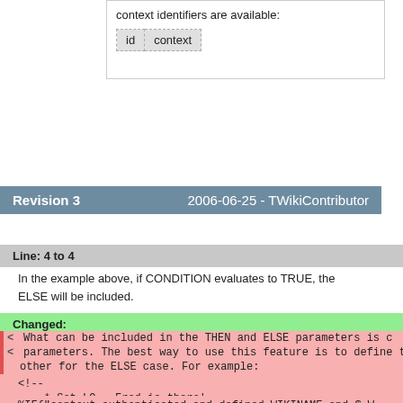context identifiers are available:
| id | context |
| --- | --- |
Revision 3    2006-06-25 - TWikiContributor
Line: 4 to 4
In the example above, if CONDITION evaluates to TRUE, the ELSE will be included.
Changed:
< What can be included in the THEN and ELSE parameters is c
< parameters. The best way to use this feature is to define two other for the ELSE case. For example:
<!--
    * Set LI = Fred is here!
    * Set LO = Fred is there!
-->
%IF{"context authenticated and defined WIKINAME and $ W